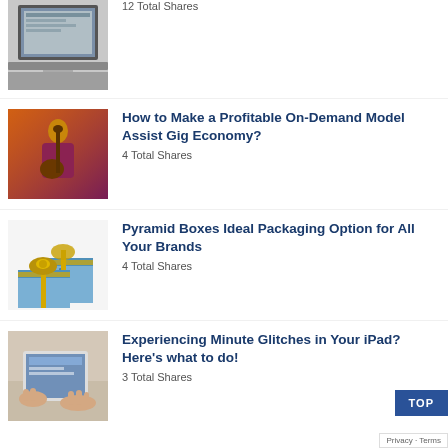[Figure (photo): Partial view of a laptop on a desk]
12 Total Shares
[Figure (photo): Person playing guitar on stage with dramatic lighting]
How to Make a Profitable On-Demand Model Assist Gig Economy?
4 Total Shares
[Figure (photo): Decorative gift boxes with ribbons and bows]
Pyramid Boxes Ideal Packaging Option for All Your Brands
4 Total Shares
[Figure (photo): Hands typing on a tablet device on a desk]
Experiencing Minute Glitches in Your iPad? Here's what to do!
3 Total Shares